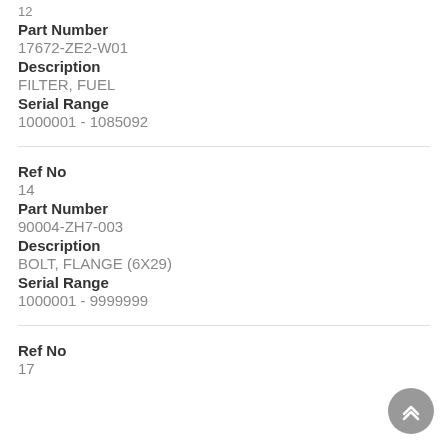12
Part Number
17672-ZE2-W01
Description
FILTER, FUEL
Serial Range
1000001 - 1085092
Ref No
14
Part Number
90004-ZH7-003
Description
BOLT, FLANGE (6X29)
Serial Range
1000001 - 9999999
Ref No
17